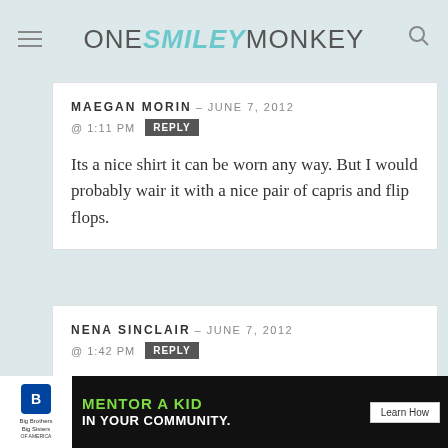ONE SMILEY MONKEY
MAEGAN MORIN – JUNE 7, 2012
@ 1:11 PM  REPLY

Its a nice shirt it can be worn any way. But I would probably wair it with a nice pair of capris and flip flops.
NENA SINCLAIR – JUNE 7, 2012
@ 1:42 PM  REPLY

I would pair it with a nice pair of jeans and a shrug